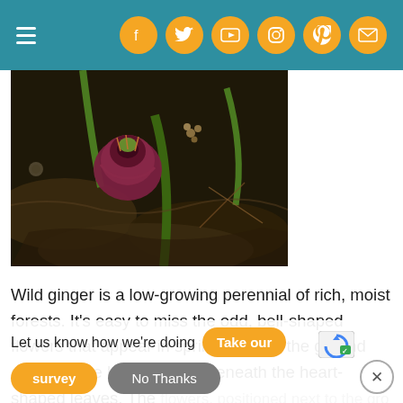Navigation header with social media icons: Facebook, Twitter, YouTube, Instagram, Pinterest, Email
[Figure (photo): Close-up photo of wild ginger plant showing a dark reddish-purple bell-shaped flower amongst leaf litter, dead leaves, and green stems on the forest floor]
Wild ginger is a low-growing perennial of rich, moist forests. It's easy to miss the odd, bell-shaped flowers that appear in spring close to the ground amongst the leaf litter and beneath the heart-shaped leaves. The flowers, positioned next to the ground, develop with color of d... ...decs... fruit att...
Let us know how we're doing
Take our survey
No Thanks